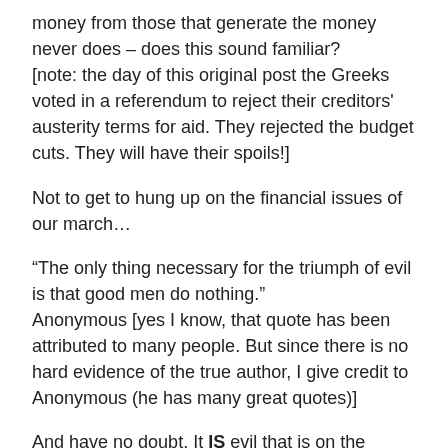money from those that generate the money never does – does this sound familiar?
[note: the day of this original post the Greeks voted in a referendum to reject their creditors' austerity terms for aid. They rejected the budget cuts. They will have their spoils!]
Not to get to hung up on the financial issues of our march…
“The only thing necessary for the triumph of evil is that good men do nothing.”
Anonymous [yes I know, that quote has been attributed to many people. But since there is no hard evidence of the true author, I give credit to Anonymous (he has many great quotes)]
And have no doubt. It IS evil that is on the move. Evil in